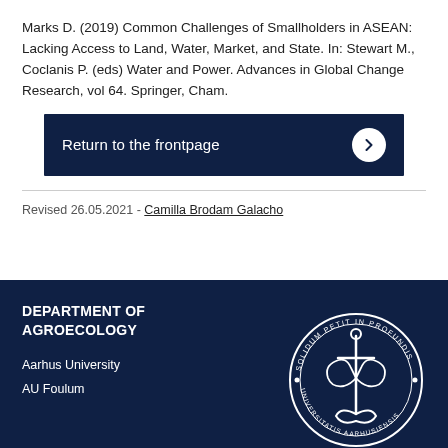Marks D. (2019) Common Challenges of Smallholders in ASEAN: Lacking Access to Land, Water, Market, and State. In: Stewart M., Coclanis P. (eds) Water and Power. Advances in Global Change Research, vol 64. Springer, Cham.
Return to the frontpage
Revised 26.05.2021 - Camilla Brodam Galacho
DEPARTMENT OF AGROECOLOGY
Aarhus University
AU Foulum
[Figure (logo): Aarhus University seal/crest with anchor motif and Latin text 'SOLIDUM PETIT IN PROFUNDIS' and 'UNIVERSITATIS AARHUSIENSIS']